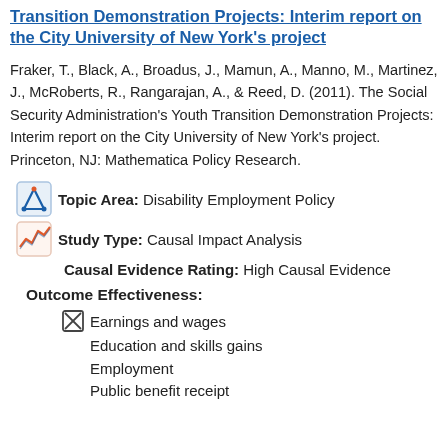Transition Demonstration Projects: Interim report on the City University of New York's project
Fraker, T., Black, A., Broadus, J., Mamun, A., Manno, M., Martinez, J., McRoberts, R., Rangarajan, A., & Reed, D. (2011). The Social Security Administration's Youth Transition Demonstration Projects: Interim report on the City University of New York's project. Princeton, NJ: Mathematica Policy Research.
Topic Area: Disability Employment Policy
Study Type: Causal Impact Analysis
Causal Evidence Rating: High Causal Evidence
Outcome Effectiveness:
Earnings and wages
Education and skills gains
Employment
Public benefit receipt